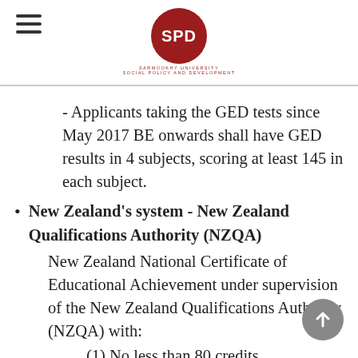SPD - Sarmookhy University Social Policy and Development
- Applicants taking the GED tests since May 2017 BE onwards shall have GED results in 4 subjects, scoring at least 145 in each subject.
New Zealand's system - New Zealand Qualifications Authority (NZQA) New Zealand National Certificate of Educational Achievement under supervision of the New Zealand Qualifications Authority (NZQA) with: (1) No less than 80 credits.